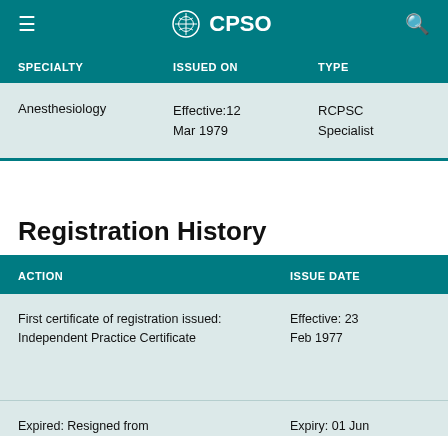CPSO
| SPECIALTY | ISSUED ON | TYPE |
| --- | --- | --- |
| Anesthesiology | Effective:12 Mar 1979 | RCPSC Specialist |
Registration History
| ACTION | ISSUE DATE |
| --- | --- |
| First certificate of registration issued: Independent Practice Certificate | Effective: 23 Feb 1977 |
| Expired: Resigned from | Expiry: 01 Jun |